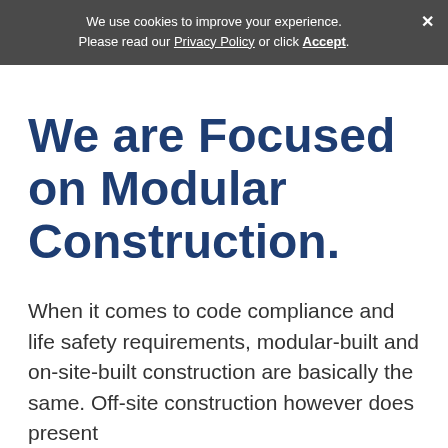We use cookies to improve your experience. Please read our Privacy Policy or click Accept.
We are Focused on Modular Construction.
When it comes to code compliance and life safety requirements, modular-built and on-site-built construction are basically the same. Off-site construction however does present